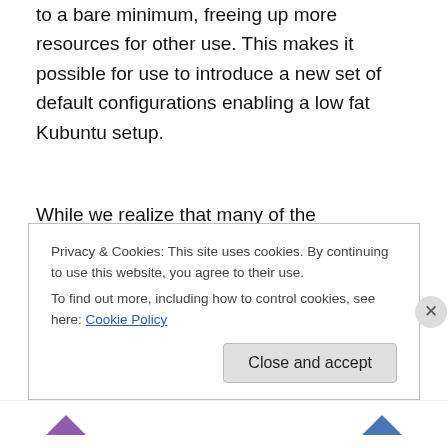to a bare minimum, freeing up more resources for other use. This makes it possible for use to introduce a new set of default configurations enabling a low fat Kubuntu setup.
While we realize that many of the technologies that make the KDE 4 workspace the incredible amazing product that it is, we also see a demand in reducing resource consumption on systems with limited hardware resources.
Privacy & Cookies: This site uses cookies. By continuing to use this website, you agree to their use.
To find out more, including how to control cookies, see here: Cookie Policy
Close and accept